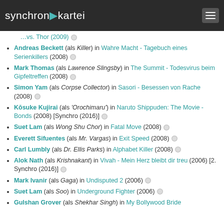synchron kartei
Suet Lam (als Wong Shu Chor) in Fatal Move (2009)
Andreas Beckett (als Killer) in Wahre Macht - Tagebuch eines Serienkillers (2008)
Mark Thomas (als Lawrence Slingsby) in The Summit - Todesvirus beim Gipfeltreffen (2008)
Simon Yam (als Corpse Collector) in Sasori - Besessen von Rache (2008)
Kōsuke Kujirai (als 'Orochimaru') in Naruto Shippuden: The Movie - Bonds (2008) [Synchro (2016)]
Suet Lam (als Wong Shu Chor) in Fatal Move (2008)
Everett Sifuentes (als Mr. Vargas) in Exit Speed (2008)
Carl Lumbly (als Dr. Ellis Parks) in Alphabet Killer (2008)
Alok Nath (als Krishnakant) in Vivah - Mein Herz bleibt dir treu (2006) [2. Synchro (2016)]
Mark Ivanir (als Gaga) in Undisputed 2 (2006)
Suet Lam (als Soo) in Underground Fighter (2006)
Gulshan Grover (als Shekhar Singh) in My Bollywood Bride (...)